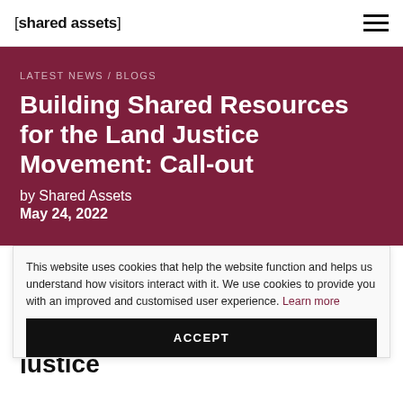[shared assets]
LATEST NEWS / BLOGS
Building Shared Resources for the Land Justice Movement: Call-out
by Shared Assets
May 24, 2022
This website uses cookies that help the website function and helps us understand how visitors interact with it. We use cookies to provide you with an improved and customised user experience. Learn more
ACCEPT
Co... hel... shared resources for the land justice movement?